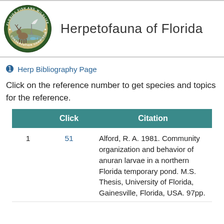Herpetofauna of Florida
← Herp Bibliography Page
Click on the reference number to get species and topics for the reference.
|  | Click | Citation |
| --- | --- | --- |
| 1 | 51 | Alford, R. A. 1981. Community organization and behavior of anuran larvae in a northern Florida temporary pond. M.S. Thesis, University of Florida, Gainesville, Florida, USA. 97pp. |